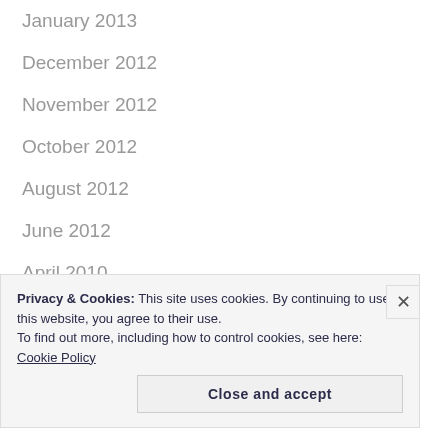January 2013
December 2012
November 2012
October 2012
August 2012
June 2012
April 2010
February 2010
October 2009
Privacy & Cookies: This site uses cookies. By continuing to use this website, you agree to their use. To find out more, including how to control cookies, see here: Cookie Policy